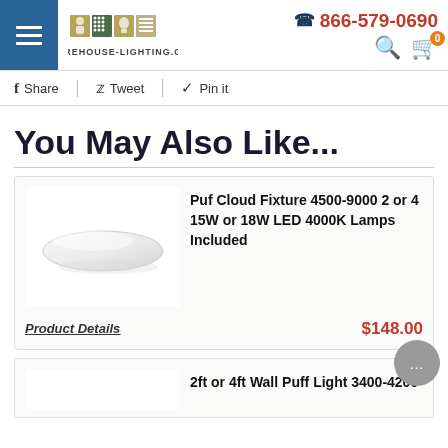warehouse-lighting.com | 866-579-0690
Share  Tweet  Pin it
You May Also Like...
Puf Cloud Fixture 4500-9000 2 or 4 15W or 18W LED 4000K Lamps Included
Product Details  $148.00
2ft or 4ft Wall Puff Light 3400-4200